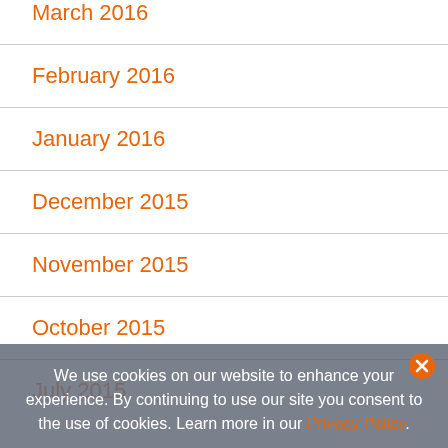March 2016
February 2016
January 2016
December 2015
November 2015
October 2015
We use cookies on our website to enhance your experience. By continuing to use our site you consent to the use of cookies. Learn more in our Privacy Policy.
July 2015